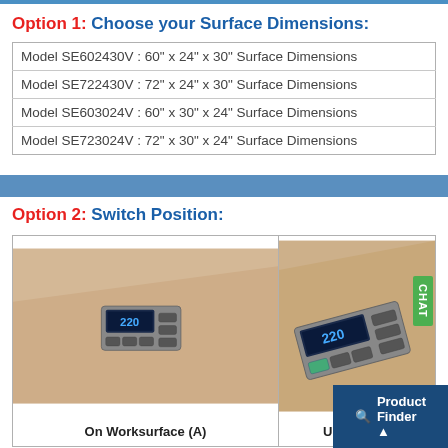Option 1: Choose your Surface Dimensions:
| Model SE602430V : 60" x 24" x 30" Surface Dimensions |
| Model SE722430V : 72" x 24" x 30" Surface Dimensions |
| Model SE603024V : 60" x 30" x 24" Surface Dimensions |
| Model SE723024V : 72" x 30" x 24" Surface Dimensions |
Option 2: Switch Position:
[Figure (photo): Two side-by-side product photos showing desk switch positions: 'On Worksurface (A)' showing a digital controller panel mounted on desktop surface, and 'Under Worksurface' showing switch mounted under desk surface. A green 'CHAT' badge is visible on the right side.]
Product Finder